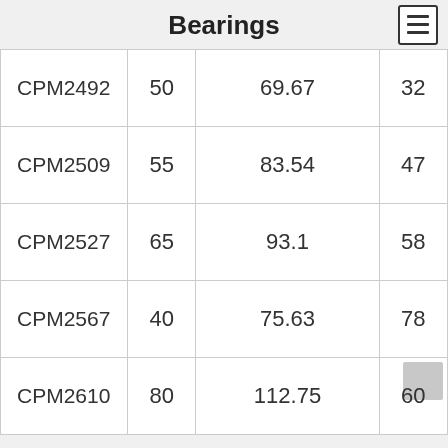Bearings
| CPM2492 | 50 | 69.67 | 32 |
| CPM2509 | 55 | 83.54 | 47 |
| CPM2527 | 65 | 93.1 | 58 |
| CPM2567 | 40 | 75.63 | 78 |
| CPM2610 | 80 | 112.75 | 60 |